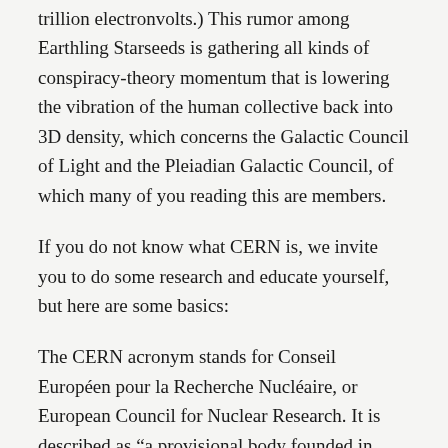trillion electronvolts.) This rumor among Earthling Starseeds is gathering all kinds of conspiracy-theory momentum that is lowering the vibration of the human collective back into 3D density, which concerns the Galactic Council of Light and the Pleiadian Galactic Council, of which many of you reading this are members.
If you do not know what CERN is, we invite you to do some research and educate yourself, but here are some basics:
The CERN acronym stands for Conseil Européen pour la Recherche Nucléaire, or European Council for Nuclear Research. It is described as “a provisional body founded in 1952 with the mandate of establishing a world-class fundamental physics research organization in Europe.”
What we Pleiadians like to call it is: Fucking Around